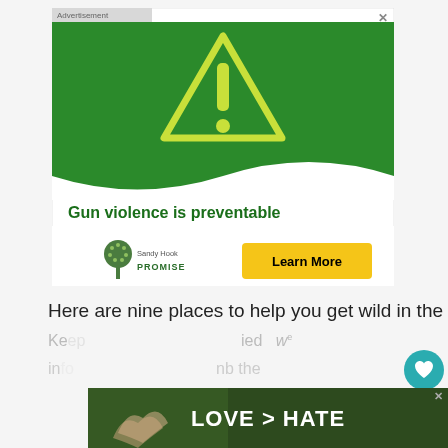[Figure (infographic): Sandy Hook Promise advertisement. Green background with yellow warning triangle containing exclamation mark. Text reads: 'Gun violence is preventable when you "know the signs".' Bottom white section shows Sandy Hook Promise logo and 'Learn More' yellow button.]
Here are nine places to help you get wild in the
[Figure (photo): Advertisement showing hands forming a heart shape with text 'LOVE > HATE' overlaid in white bold letters on dark background.]